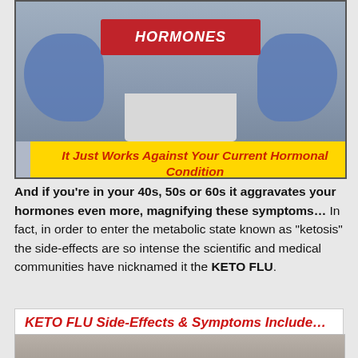[Figure (photo): Doctor in blue gloves holding a red sign that says HORMONES]
It Just Works Against Your Current Hormonal Condition When You’re In Your 40s, 50s and 60s…
And if you're in your 40s, 50s or 60s it aggravates your hormones even more, magnifying these symptoms… In fact, in order to enter the metabolic state known as "ketosis" the side-effects are so intense the scientific and medical communities have nicknamed it the KETO FLU.
KETO FLU Side-Effects & Symptoms Include…
[Figure (photo): Person lying down on a couch appearing sick, with a cloth on their head]